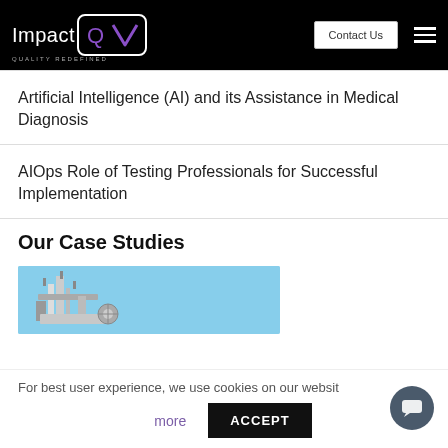Impact QA — Quality Redefined | Contact Us
Artificial Intelligence (AI) and its Assistance in Medical Diagnosis
AIOps Role of Testing Professionals for Successful Implementation
Our Case Studies
[Figure (photo): Photo of industrial/mechanical equipment against a blue sky, used as a case study thumbnail.]
For best user experience, we use cookies on our websit…
more   ACCEPT